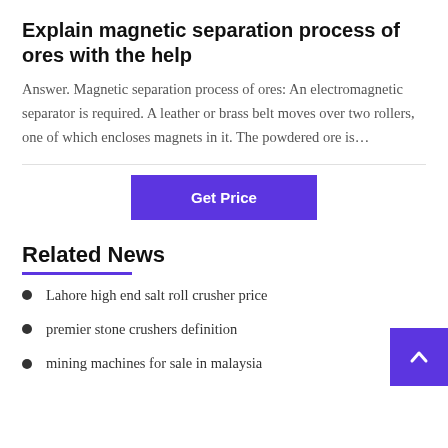Explain magnetic separation process of ores with the help
Answer. Magnetic separation process of ores: An electromagnetic separator is required. A leather or brass belt moves over two rollers, one of which encloses magnets in it. The powdered ore is…
Related News
Lahore high end salt roll crusher price
premier stone crushers definition
mining machines for sale in malaysia